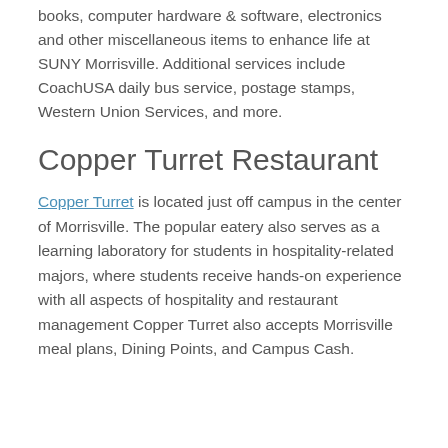books, computer hardware & software, electronics and other miscellaneous items to enhance life at SUNY Morrisville. Additional services include CoachUSA daily bus service, postage stamps, Western Union Services, and more.
Copper Turret Restaurant
Copper Turret is located just off campus in the center of Morrisville. The popular eatery also serves as a learning laboratory for students in hospitality-related majors, where students receive hands-on experience with all aspects of hospitality and restaurant management Copper Turret also accepts Morrisville meal plans, Dining Points, and Campus Cash.